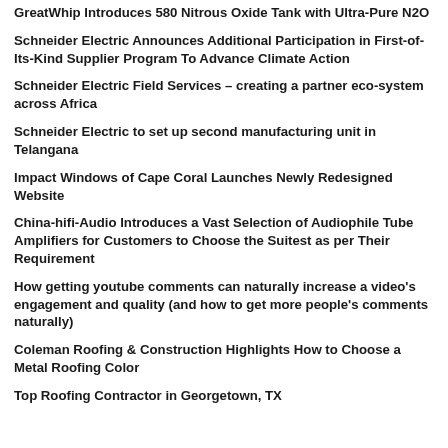GreatWhip Introduces 580 Nitrous Oxide Tank with Ultra-Pure N2O
Schneider Electric Announces Additional Participation in First-of-Its-Kind Supplier Program To Advance Climate Action
Schneider Electric Field Services – creating a partner eco-system across Africa
Schneider Electric to set up second manufacturing unit in Telangana
Impact Windows of Cape Coral Launches Newly Redesigned Website
China-hifi-Audio Introduces a Vast Selection of Audiophile Tube Amplifiers for Customers to Choose the Suitest as per Their Requirement
How getting youtube comments can naturally increase a video's engagement and quality (and how to get more people's comments naturally)
Coleman Roofing & Construction Highlights How to Choose a Metal Roofing Color
Top Roofing Contractor in Georgetown, TX